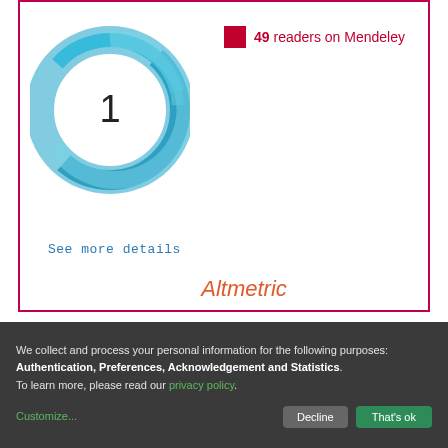[Figure (logo): Altmetric donut logo with number 1 in center, teal/blue swirl design]
49 readers on Mendeley
See more details
Altmetric
Items in DSpace are protected by copyright, with all rights reserved, unless otherwise indicated.
We collect and process your personal information for the following purposes: Authentication, Preferences, Acknowledgement and Statistics. To learn more, please read our privacy policy.
Customize...
Decline
That's ok